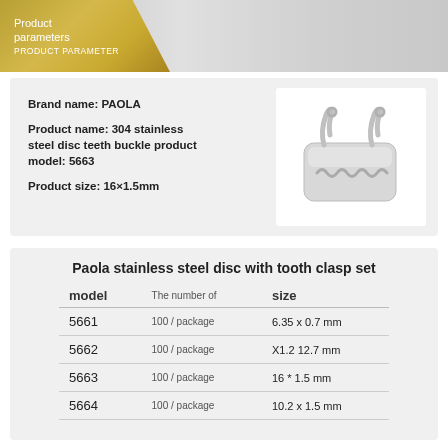Product parameters
PRODUCT PARAMETER
Brand name: PAOLA
Product name: 304 stainless steel disc teeth buckle product model: 5663
Product size: 16×1.5mm
[Figure (photo): Stainless steel disc with tooth clasp dental buckle, silver metallic rectangular bracket with tooth/wave pattern and two hooks on top]
Paola stainless steel disc with tooth clasp set
| model | The number of | size |
| --- | --- | --- |
| 5661 | 100 / package | 6.35 x 0.7 mm |
| 5662 | 100 / package | X1.2 12.7 mm |
| 5663 | 100 / package | 16 * 1.5 mm |
| 5664 | 100 / package | 10.2 x 1.5 mm |